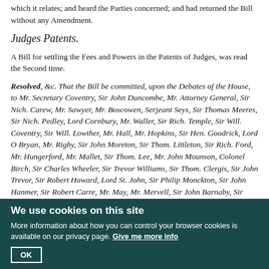which it relates; and heard the Parties concerned; and had returned the Bill without any Amendment.
Judges Patents.
A Bill for settling the Fees and Powers in the Patents of Judges, was read the Second time.
Resolved, &c. That the Bill be committed, upon the Debates of the House, to Mr. Secretary Coventry, Sir John Duncombe, Mr. Attorney General, Sir Nich. Carew, Mr. Sawyer, Mr. Boscowen, Serjeant Seys, Sir Thomas Meeres, Sir Nich. Pedley, Lord Cornbury, Mr. Waller, Sir Rich. Temple, Sir Will. Coventry, Sir Will. Lowther, Mr. Hall, Mr. Hopkins, Sir Hen. Goodrick, Lord O Bryan, Mr. Rigby, Sir John Moreton, Sir Thom. Littleton, Sir Rich. Ford, Mr. Hungerford, Mr. Mallet, Sir Thom. Lee, Mr. John Mounson, Colonel Birch, Sir Charles Wheeler, Sir Trevor Williams, Sir Thom. Clergis, Sir John Trevor, Sir Robert Howard, Lord St. John, Sir Philip Monckton, Sir John Hanmer, Sir Robert Carre, Mr. May, Mr. Mervell, Sir John Barnaby, Sir Allen Broderick, Sir Charles Harbord, Mr. Garaway, Mr. Swinfen, Sir Philip Harcourt, Sir Philip Warwick, Sir John Hotham, Sir Will. Doyley, Mr. Maynard, Mr. Daniell, Sir Anth. Irby, Sir Edm. Jennings, Sir Gilbert Talbot, Sir Gilbert Gerard, Sir John Norton, Mr.
We use cookies on this site
More information about how you can control your browser cookies is available on our privacy page. Give me more info
OK